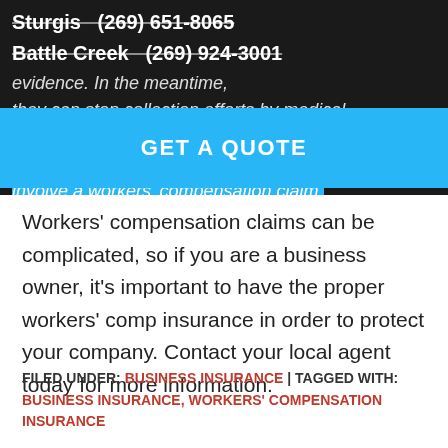Sturgis   (269) 651-8065
Battle Creek   (269) 924-3001
evidence. In the meantime, they can stop collection efforts by medical providers if they notify the provider in writing by certified mail that the healthcare services provided involve a workers' compensation claim.
[Figure (other): Blue banner with text GET A QUOTE]
Workers' compensation claims can be complicated, so if you are a business owner, it's important to have the proper workers' comp insurance in order to protect your company. Contact your local agent today for more information.
FILED UNDER: BUSINESS INSURANCE | TAGGED WITH: BUSINESS INSURANCE, WORKERS' COMPENSATION INSURANCE